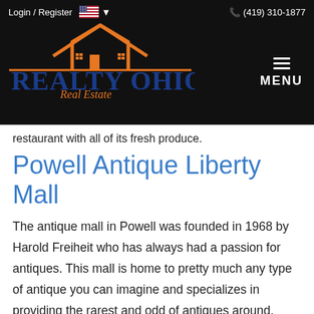Login / Register  🇺🇸 ▾   📞 (419) 310-1877 | Realty Ohio Real Estate | MENU
restaurant with all of its fresh produce.
Powell Antique Liberty Mall
The antique mall in Powell was founded in 1968 by Harold Freiheit who has always had a passion for antiques. This mall is home to pretty much any type of antique you can imagine and specializes in providing the rarest and odd of antiques around. Some items you may expect to find include jukeboxes, antique China, furniture, jewelry, art, etc. Truly a unique and interesting place for those who love shopping.